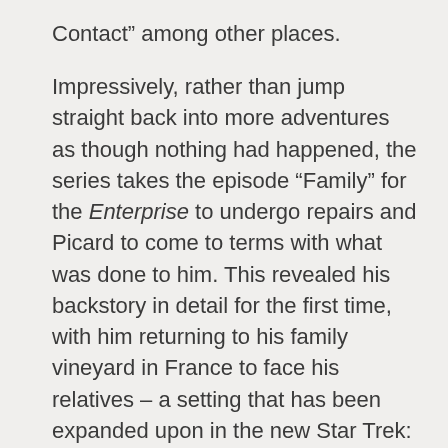Contact” among other places.
Impressively, rather than jump straight back into more adventures as though nothing had happened, the series takes the episode “Family” for the Enterprise to undergo repairs and Picard to come to terms with what was done to him. This revealed his backstory in detail for the first time, with him returning to his family vineyard in France to face his relatives – a setting that has been expanded upon in the new Star Trek: Picard series. The episode was also used to develop the backgrounds of other characters, such as Worf with his adoptive human parents from Belarus (which always begged the